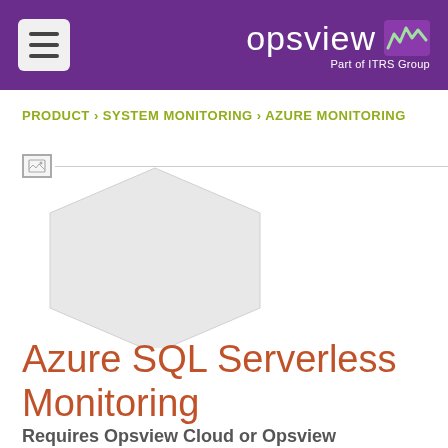opsview — Part of ITRS Group
PRODUCT › SYSTEM MONITORING › AZURE MONITORING
[Figure (illustration): Hexagon shaped product logo placeholder with broken image icon and horizontal line at top]
Azure SQL Serverless Monitoring
Requires Opsview Cloud or Opsview